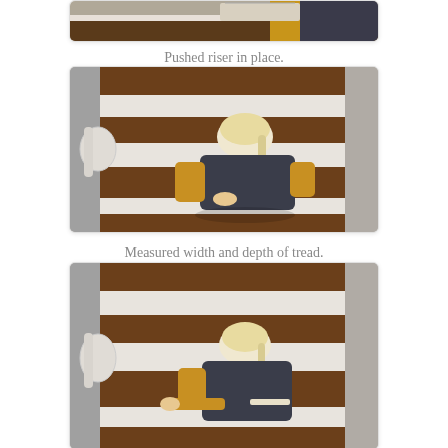[Figure (photo): Top portion of a photo showing a woman in a yellow long-sleeve shirt and dark quilted vest on wooden stairs, partially cropped at top of page]
Pushed riser in place.
[Figure (photo): Overhead view of a woman with blonde hair in a ponytail, wearing a dark quilted vest and yellow shirt, pushing a white riser in place on wooden stairs with white risers, handrail visible on left]
Measured width and depth of tread.
[Figure (photo): Overhead view of the same woman measuring the width and depth of a wooden stair tread on stairs with white risers, handrail visible on left]